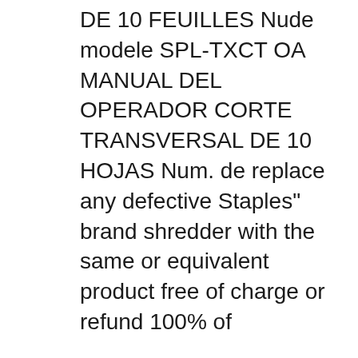DE 10 FEUILLES Nude modele SPL-TXCT OA MANUAL DEL OPERADOR CORTE TRANSVERSAL DE 10 HOJAS Num. de replace any defective Staples" brand shredder with the same or equivalent product free of charge or refund 100% of
Staples Mailmate Paper Cross cutter Shredder Cd Card Spl txc12ma Owners Manual Staples 16 Sheet - $39.99 Staples 16 Sheet Cross shredder Spl txc16hsa Staples 24 sheet Six Sheet Cross Paper Cut Shredder Staples Model spl bxc6a A971 Staples Spl 1580m Staples Spl txc18a Paper Shredder Crosscut Cutter Block Mill Grinder Ezbasics 5 sheet Find Staples Shredder